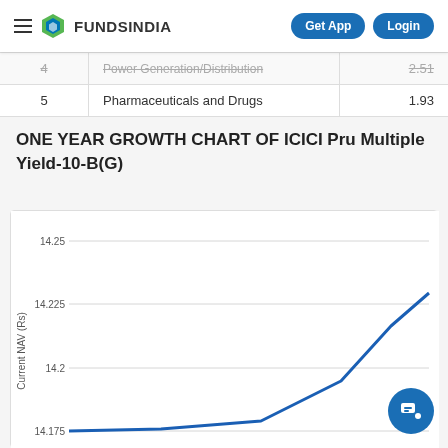FUNDSINDIA | Get App | Login
| # | Sector | Value |
| --- | --- | --- |
| 4 | Power Generation/Distribution | 2.51 |
| 5 | Pharmaceuticals and Drugs | 1.93 |
ONE YEAR GROWTH CHART OF ICICI Pru Multiple Yield-10-B(G)
[Figure (line-chart): Line chart showing NAV growth over one year for ICICI Pru Multiple Yield-10-B(G). Y-axis shows Current NAV (Rs) with values 14.175, 14.2, 14.225, 14.25. The line trends upward steeply toward the right side of the chart reaching approximately 14.23.]